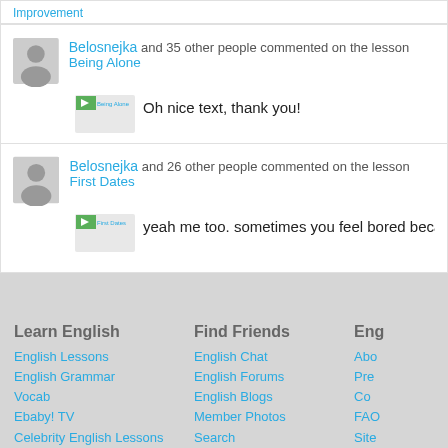improvement
Belosnejka and 35 other people commented on the lesson Being Alone
Oh nice text, thank you!
Belosnejka and 26 other people commented on the lesson First Dates
yeah me too. sometimes you feel bored because of dates w
Learn English
English Lessons
English Grammar
Vocab
Ebaby! TV
Celebrity English Lessons
Teacher Talk
Find English Schools
iTEP English Test for Admissions
Find Friends
English Chat
English Forums
English Blogs
Member Photos
Search
Eng
Abo
Pre
Co
FAO
Site
Adv
Priv
To inquire about partnerships